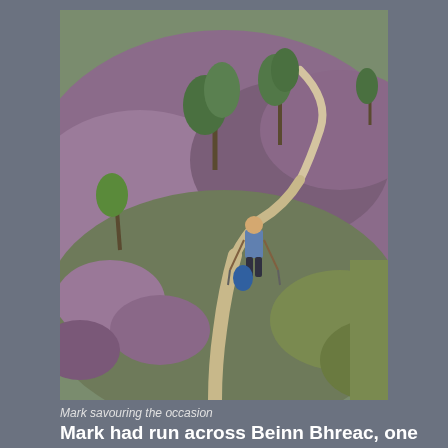[Figure (photo): A hiker with walking poles stands on a sandy trail winding through purple heather moorland with scattered conifer trees. The landscape is open Scottish highland terrain.]
Mark savouring the occasion
Mark had run across Beinn Bhreac, one of the remotest Corbetts the previous day so was